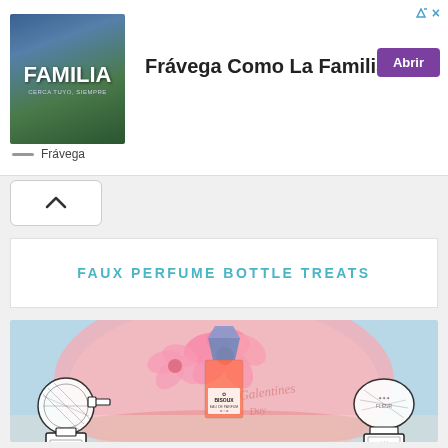[Figure (screenshot): Advertisement banner for Frávega showing group of people with text 'FAMILIA' and tagline 'Frávega Como La Familia' with purple 'Abrir' button]
[Figure (other): Collapse/chevron up button UI element]
FAUX PERFUME BOTTLE TREATS
[Figure (photo): Photo of faux perfume bottle treats including candy-filled clear bag labeled 'BISOUX EAU DE PARFUM', illustrated perfume bottle cutouts on left and right, and a large pink cake with flower decoration in background]